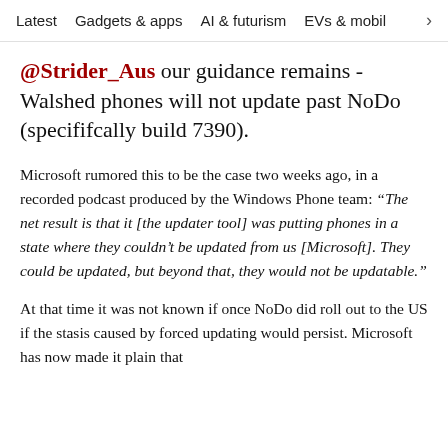Latest   Gadgets & apps   AI & futurism   EVs & mobil  >
@Strider_Aus our guidance remains - Walshed phones will not update past NoDo (specififcally build 7390).
Microsoft rumored this to be the case two weeks ago, in a recorded podcast produced by the Windows Phone team: “The net result is that it [the updater tool] was putting phones in a state where they couldn’t be updated from us [Microsoft]. They could be updated, but beyond that, they would not be updatable.”
At that time it was not known if once NoDo did roll out to the US if the stasis caused by forced updating would persist. Microsoft has now made it plain that